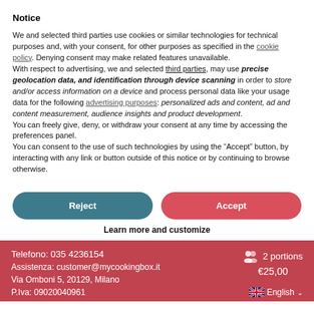Notice
We and selected third parties use cookies or similar technologies for technical purposes and, with your consent, for other purposes as specified in the cookie policy. Denying consent may make related features unavailable.
With respect to advertising, we and selected third parties, may use precise geolocation data, and identification through device scanning in order to store and/or access information on a device and process personal data like your usage data for the following advertising purposes: personalized ads and content, ad and content measurement, audience insights and product development.
You can freely give, deny, or withdraw your consent at any time by accessing the preferences panel.
You can consent to the use of such technologies by using the “Accept” button, by interacting with any link or button outside of this notice or by continuing to browse otherwise.
Reject
Accept
Learn more and customize
Telefono: 035 4236154
Assistenza: customer@mycookingbox.it
Via Omboni 5, 20129, Milano
P.Iva: 09020040961
2 portions
€25,00
English